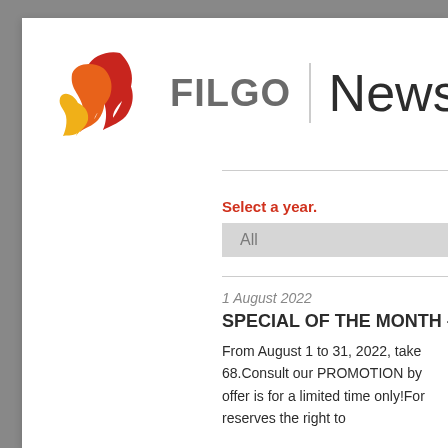[Figure (logo): FILGO company logo with flame icon in red, orange, and yellow, followed by FILGO text in grey]
News
Select a year.
All
1 August 2022
SPECIAL OF THE MONTH -
From August 1 to 31, 2022, take 68.Consult our PROMOTION by offer is for a limited time only!For reserves the right to